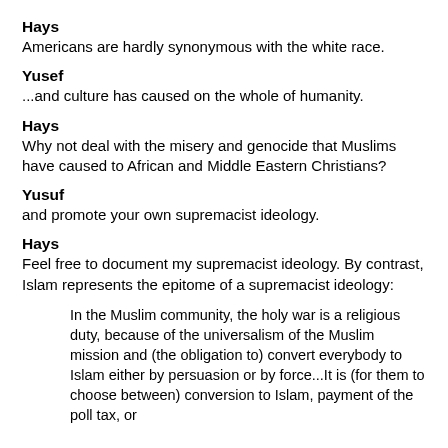Hays
Americans are hardly synonymous with the white race.
Yusef
...and culture has caused on the whole of humanity.
Hays
Why not deal with the misery and genocide that Muslims have caused to African and Middle Eastern Christians?
Yusuf
and promote your own supremacist ideology.
Hays
Feel free to document my supremacist ideology. By contrast, Islam represents the epitome of a supremacist ideology:
In the Muslim community, the holy war is a religious duty, because of the universalism of the Muslim mission and (the obligation to) convert everybody to Islam either by persuasion or by force...It is (for them to choose between) conversion to Islam, payment of the poll tax, or